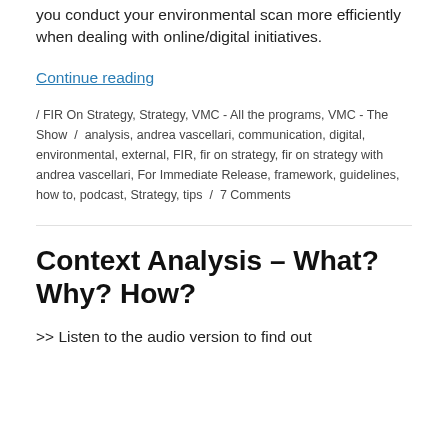you conduct your environmental scan more efficiently when dealing with online/digital initiatives.
Continue reading
/ FIR On Strategy, Strategy, VMC - All the programs, VMC - The Show / analysis, andrea vascellari, communication, digital, environmental, external, FIR, fir on strategy, fir on strategy with andrea vascellari, For Immediate Release, framework, guidelines, how to, podcast, Strategy, tips / 7 Comments
Context Analysis – What? Why? How?
>> Listen to the audio version to find out